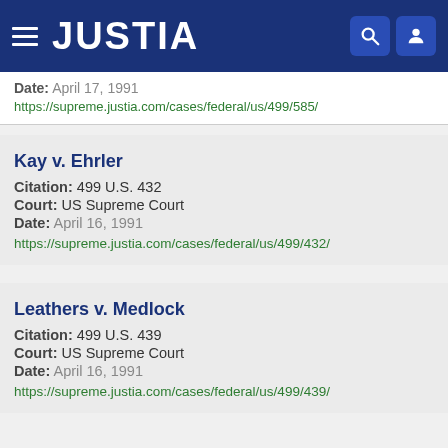JUSTIA
Date: April 17, 1991
https://supreme.justia.com/cases/federal/us/499/585/
Kay v. Ehrler
Citation: 499 U.S. 432
Court: US Supreme Court
Date: April 16, 1991
https://supreme.justia.com/cases/federal/us/499/432/
Leathers v. Medlock
Citation: 499 U.S. 439
Court: US Supreme Court
Date: April 16, 1991
https://supreme.justia.com/cases/federal/us/499/439/